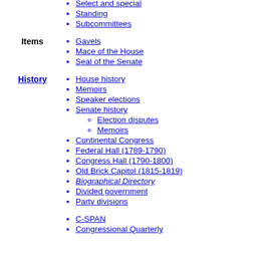List (House)
List (Senate)
Select and special
Standing
Subcommittees
Items
Gavels
Mace of the House
Seal of the Senate
House history
Memoirs
Speaker elections
Senate history
Election disputes
Memoirs
Continental Congress
Federal Hall (1789-1790)
Congress Hall (1790-1800)
Old Brick Capitol (1815-1819)
Biographical Directory
Divided government
Party divisions
History
C-SPAN
Congressional Quarterly